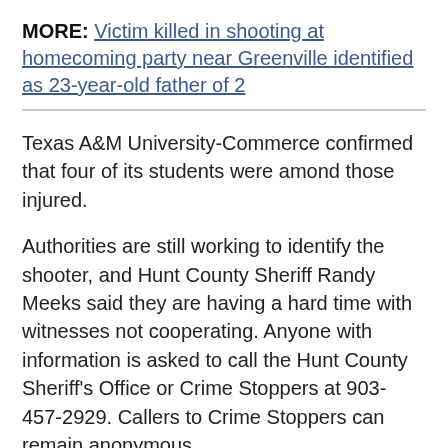MORE: Victim killed in shooting at homecoming party near Greenville identified as 23-year-old father of 2
Texas A&M University-Commerce confirmed that four of its students were amond those injured.
Authorities are still working to identify the shooter, and Hunt County Sheriff Randy Meeks said they are having a hard time with witnesses not cooperating. Anyone with information is asked to call the Hunt County Sheriff's Office or Crime Stoppers at 903-457-2929. Callers to Crime Stoppers can remain anonymous.
The student we spoke to said she didn't see the shooter, but wants anyone with information to come forward.